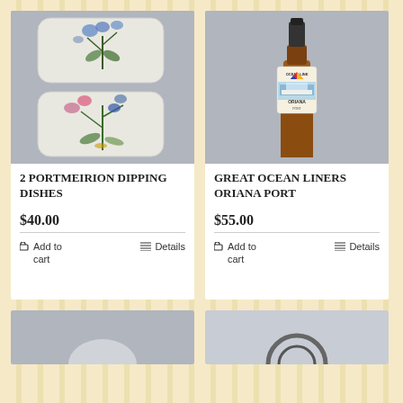[Figure (photo): Two Portmeirion ceramic dipping dishes with botanical floral designs on grey background]
2 PORTMEIRION DIPPING DISHES
$40.00
Add to cart   Details
[Figure (photo): Brown glass wine bottle labeled Great Ocean Liners Oriana Port with ship image on label]
GREAT OCEAN LINERS ORIANA PORT
$55.00
Add to cart   Details
[Figure (photo): Partial view of another product at bottom left]
[Figure (photo): Partial view of another product at bottom right]